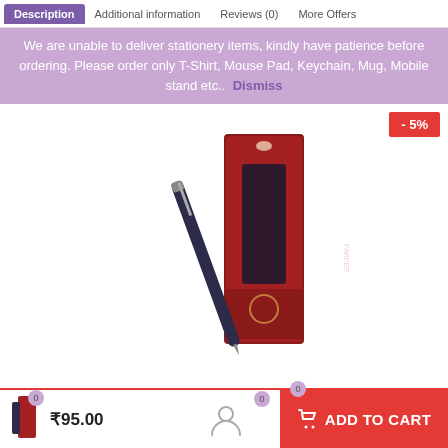Description   Additional information   Reviews (0)   More Offers
We are unable to deliver stationery items, kindly have patience before ordering. Please order only T-Shirt, Mouse Pad, Keychain, Mug, Mobile stand etc..  Dismiss
[Figure (photo): A dark blue pen leaning against a red product box (Parker-style pen packaging). The box is tall and narrow with a window cutout showing the pen inside.]
[Figure (photo): Thumbnail 1: pen and red box packaging]
[Figure (photo): Thumbnail 2: silver pen lying diagonally]
[Figure (photo): Thumbnail 3: pen resting on a notebook]
- 5%
₹95.00
ADD TO CART